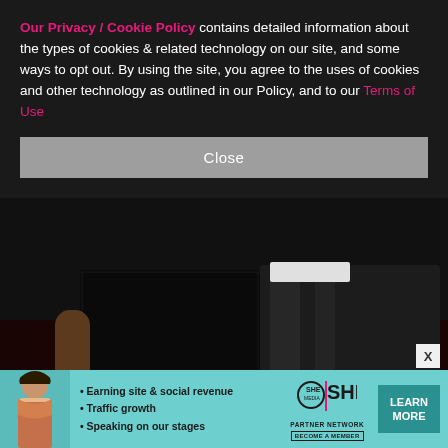[Figure (photo): Two women in black outfits at an L'Oreal Paris Women of Worth event on a dark red carpet with L'Oreal Paris branding in the background]
Our Privacy / Cookie Policy contains detailed information about the types of cookies & related technology on our site, and some ways to opt out. By using the site, you agree to the uses of cookies and other technology as outlined in our Policy, and to our Terms of Use
[Figure (screenshot): Close button UI element]
[Figure (infographic): SHE Media Partner Network advertisement banner with bullet points: Earning site & social revenue, Traffic growth, Speaking on our stages. Includes a LEARN MORE button and BECOME A MEMBER CTA.]